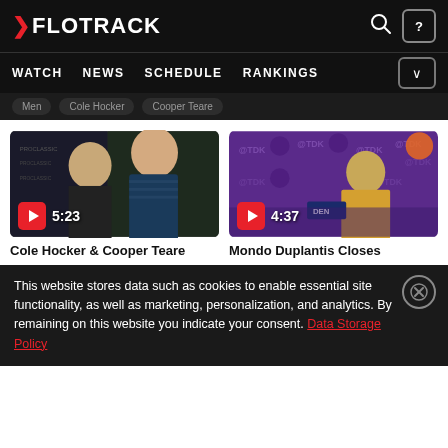FLOTRACK — WATCH | NEWS | SCHEDULE | RANKINGS
Men   Cole Hocker   Cooper Teare
[Figure (screenshot): Video thumbnail showing two male athletes being interviewed in front of a ProClassic banner backdrop. Play button with duration 5:23 visible.]
[Figure (screenshot): Video thumbnail showing Mondo Duplantis at a press conference with TDK branded purple backdrop. Play button with duration 4:37 visible.]
Cole Hocker & Cooper Teare
Mondo Duplantis Closes
This website stores data such as cookies to enable essential site functionality, as well as marketing, personalization, and analytics. By remaining on this website you indicate your consent. Data Storage Policy